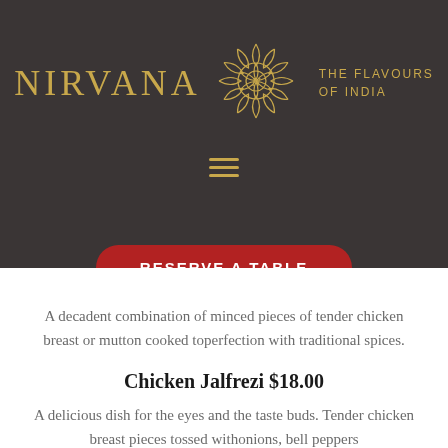[Figure (logo): Nirvana restaurant logo with mandala/lotus emblem and tagline 'THE FLAVOURS OF INDIA' on dark background]
[Figure (other): Hamburger menu icon (three horizontal lines) in gold color]
RESERVE A TABLE
A decadent combination of minced pieces of tender chicken breast or mutton cooked toperfection with traditional spices.
Chicken Jalfrezi $18.00
A delicious dish for the eyes and the taste buds. Tender chicken breast pieces tossed withonions, bell peppers